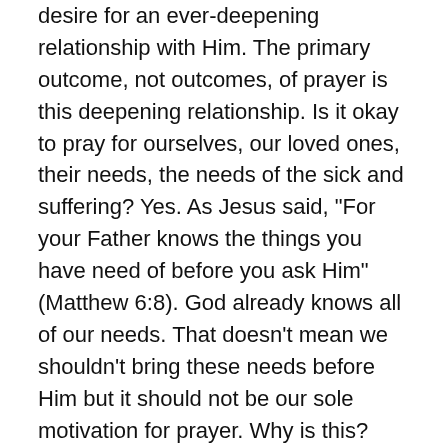desire for an ever-deepening relationship with Him. The primary outcome, not outcomes, of prayer is this deepening relationship. Is it okay to pray for ourselves, our loved ones, their needs, the needs of the sick and suffering? Yes. As Jesus said, “For your Father knows the things you have need of before you ask Him” (Matthew 6:8). God already knows all of our needs. That doesn’t mean we shouldn’t bring these needs before Him but it should not be our sole motivation for prayer. Why is this? Does God demand tribute and worship before He will do something for us? Of course not. But He created us and as St. Paul states in the book of Acts: “…for in Him we live and move and have our being” (Acts 17:28).